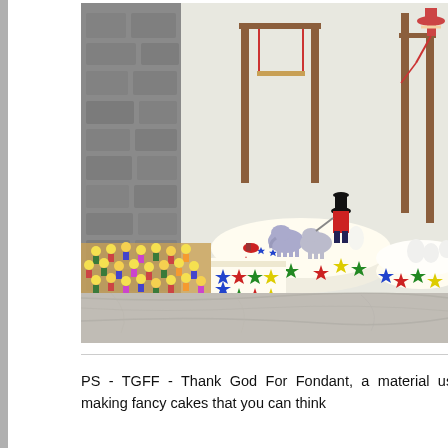[Figure (photo): A circus-themed cake display showing multiple decorated cakes and cake toppers including fondant figures of circus performers, elephants on a round cake with colorful star decorations, tiered bleacher-style cake with audience figures, trapeze apparatus made from pretzel sticks, and a ringmaster figure. The display is on a white surface with a stone wall background.]
PS - TGFF - Thank God For Fondant, a material used in making fancy cakes that you can think